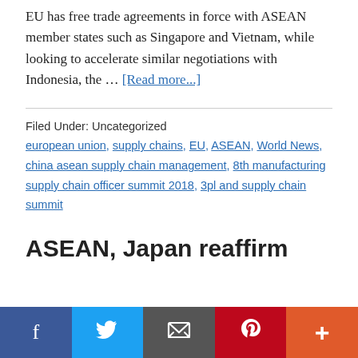EU has free trade agreements in force with ASEAN member states such as Singapore and Vietnam, while looking to accelerate similar negotiations with Indonesia, the … [Read more...]
Filed Under: Uncategorized
european union, supply chains, EU, ASEAN, World News, china asean supply chain management, 8th manufacturing supply chain officer summit 2018, 3pl and supply chain summit
ASEAN, Japan reaffirm